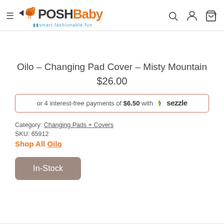PoshBaby — smart.fashionable.fun
Oilo - Changing Pad Cover - Misty Mountain
$26.00
or 4 interest-free payments of $6.50 with Sezzle
Category: Changing Pads + Covers
SKU: 65912
Shop All Oilo
In-Stock